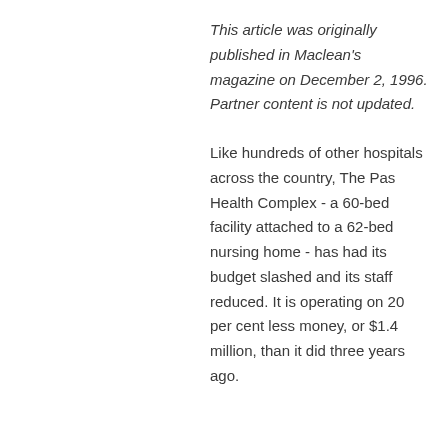This article was originally published in Maclean's magazine on December 2, 1996. Partner content is not updated.
Like hundreds of other hospitals across the country, The Pas Health Complex - a 60-bed facility attached to a 62-bed nursing home - has had its budget slashed and its staff reduced. It is operating on 20 per cent less money, or $1.4 million, than it did three years ago.